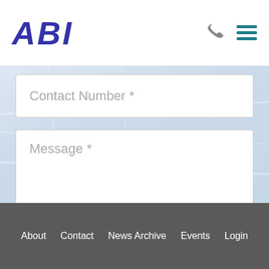[Figure (logo): ABI logo in dark blue bold italic text]
[Figure (screenshot): Map background showing Blackpool area with street map]
Contact Number *
Message *
Submit your Enquiry
[Figure (other): reCAPTCHA badge with Privacy and Terms links]
About   Contact   News Archive   Events   Login